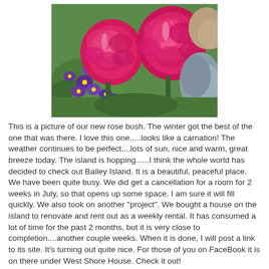[Figure (photo): A photograph of a pink rose bush with bright pink blooms resembling carnations, surrounded by purple and yellow pansies and other garden plants with green and silvery-blue foliage.]
This is a picture of our new rose bush. The winter got the best of the one that was there. I love this one.....looks like a carnation! The weather continues to be perfect....lots of sun, nice and warm, great breeze today. The island is hopping......I think the whole world has decided to check out Bailey Island. It is a beautiful, peaceful place.
We have been quite busy. We did get a cancellation for a room for 2 weeks in July, so that opens up some space. I am sure it will fill quickly. We also took on another "project". We bought a house on the island to renovate and rent out as a weekly rental. It has consumed a lot of time for the past 2 months, but it is very close to completion....another couple weeks. When it is done, I will post a link to its site. It's turning out quite nice. For those of you on FaceBook it is on there under West Shore House. Check it out!